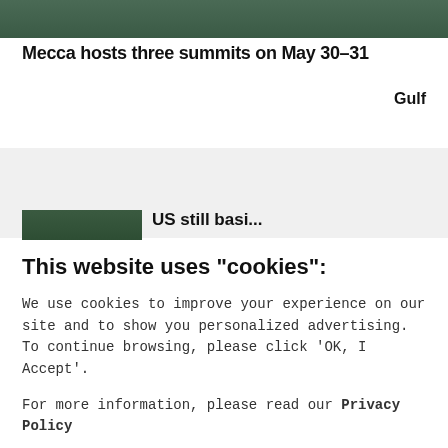[Figure (photo): Partial top strip showing dark greenish outdoor scene]
Mecca hosts three summits on May 30–31
Gulf
Editor's Choice
[Figure (photo): Partial thumbnail of an outdoor scene, cropped]
US still basi...
This website uses "cookies":
We use cookies to improve your experience on our site and to show you personalized advertising. To continue browsing, please click 'OK, I Accept'.
For more information, please read our Privacy Policy
Ok, I Accept